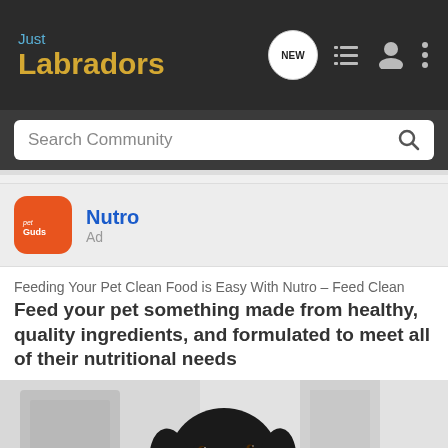Just Labradors
Search Community
Nutro
Ad
Feeding Your Pet Clean Food is Easy With Nutro – Feed Clean
Feed your pet something made from healthy, quality ingredients, and formulated to meet all of their nutritional needs
[Figure (photo): Black Cocker Spaniel dog wearing a red polka-dot bandana, sitting and looking at camera with a blurred white background]